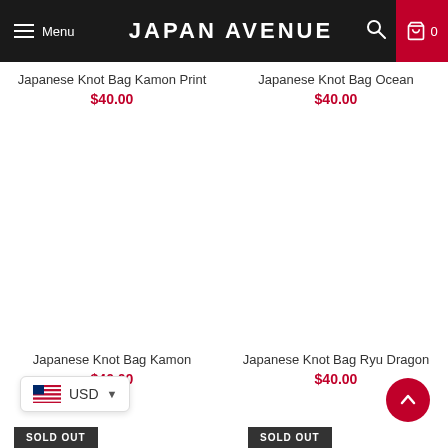Menu | JAPAN AVENUE | 0
Japanese Knot Bag Kamon Print
$40.00
Japanese Knot Bag Ocean
$40.00
Japanese Knot Bag Kamon
$40.00
Japanese Knot Bag Ryu Dragon
$40.00
USD
SOLD OUT
SOLD OUT